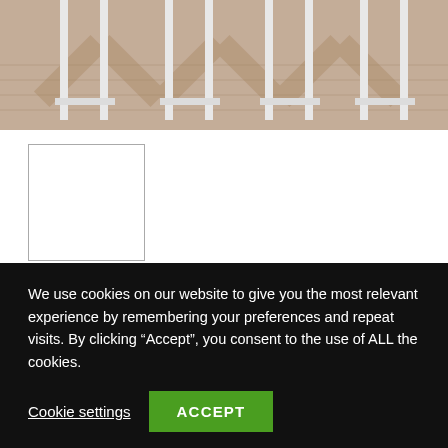[Figure (photo): Photo showing chair legs on a wooden herringbone floor, cropped to show just the lower portion of white-framed oak dining chairs]
[Figure (photo): Small thumbnail image showing a white/blank preview of the Chichester dining chair]
Chichester Solid Light Oak & White Dining Chairs (Pairs)
We use cookies on our website to give you the most relevant experience by remembering your preferences and repeat visits. By clicking “Accept”, you consent to the use of ALL the cookies.
Cookie settings  ACCEPT